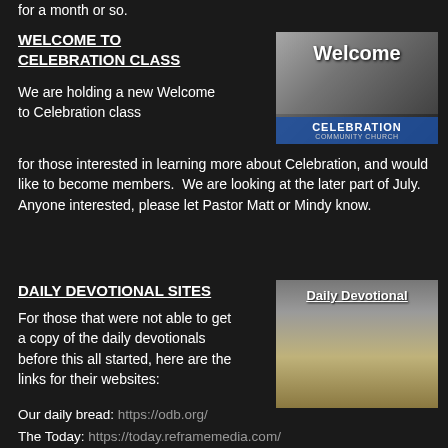for a month or so.
WELCOME TO CELEBRATION CLASS
[Figure (photo): Welcome to Celebration Community Church image with crowd in background, text says 'Welcome' and 'CELEBRATION COMMUNITY CHURCH']
We are holding a new Welcome to Celebration class for those interested in learning more about Celebration, and would like to become members.  We are looking at the later part of July.  Anyone interested, please let Pastor Matt or Mindy know.
DAILY DEVOTIONAL SITES
[Figure (photo): Daily Devotional image showing an open Bible on a surface, with text 'Daily Devotional' at the top]
For those that were not able to get a copy of the daily devotionals before this all started, here are the links for their websites:
Our daily bread: https://odb.org/
The Today: https://today.reframemedia.com/